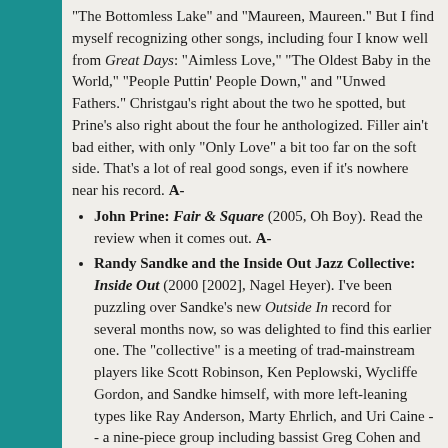"The Bottomless Lake" and "Maureen, Maureen." But I find myself recognizing other songs, including four I know well from Great Days: "Aimless Love," "The Oldest Baby in the World," "People Puttin' People Down," and "Unwed Fathers." Christgau's right about the two he spotted, but Prine's also right about the four he anthologized. Filler ain't bad either, with only "Only Love" a bit too far on the soft side. That's a lot of real good songs, even if it's nowhere near his record. A-
John Prine: Fair & Square (2005, Oh Boy). Read the review when it comes out. A-
Randy Sandke and the Inside Out Jazz Collective: Inside Out (2000 [2002], Nagel Heyer). I've been puzzling over Sandke's new Outside In record for several months now, so was delighted to find this earlier one. The "collective" is a meeting of trad-mainstream players like Scott Robinson, Ken Peplowski, Wycliffe Gordon, and Sandke himself, with more left-leaning types like Ray Anderson, Marty Ehrlich, and Uri Caine -- a nine-piece group including bassist Greg Cohen and drummer Dennis Mackrel, whose allegiances